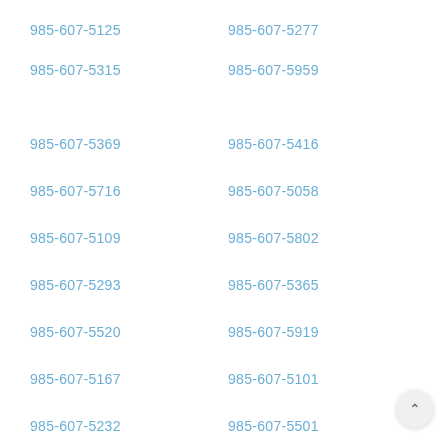985-607-5125
985-607-5277
985-607-5315
985-607-5959
985-607-5369
985-607-5416
985-607-5716
985-607-5058
985-607-5109
985-607-5802
985-607-5293
985-607-5365
985-607-5520
985-607-5919
985-607-5167
985-607-5101
985-607-5232
985-607-5501